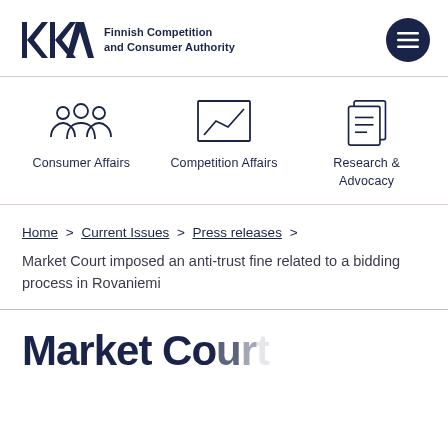[Figure (logo): KKV - Finnish Competition and Consumer Authority logo with stylized KKV letters and text]
[Figure (illustration): Three navigation icons: Consumer Affairs (group of people), Competition Affairs (line chart in box), Research & Advocacy (document with lines)]
Consumer Affairs
Competition Affairs
Research & Advocacy
Home > Current Issues > Press releases >
Market Court imposed an anti-trust fine related to a bidding process in Rovaniemi
Market Co...